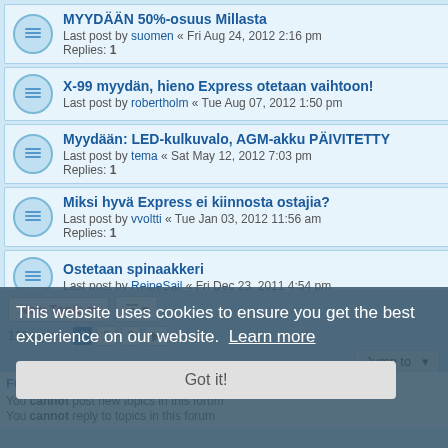MYYDÄÄN 50%-osuus Millasta — Last post by suomen « Fri Aug 24, 2012 2:16 pm — Replies: 1
X-99 myydän, hieno Express otetaan vaihtoon! — Last post by robertholm « Tue Aug 07, 2012 1:50 pm
Myydään: LED-kulkuvalo, AGM-akku PÄIVITETTY — Last post by tema « Sat May 12, 2012 7:03 pm — Replies: 1
Miksi hyvä Express ei kiinnosta ostajia? — Last post by vvoltti « Tue Jan 03, 2012 11:56 am — Replies: 1
Ostetaan spinaakkeri — Last post by ReipeSail « Fri Dec 23, 2011 4:54 pm
Tekeekö mieli vaihtaa isompaan paattiin? X-99 Myynnissä — Last post by jvasko « Thu Nov 10, 2011 7:18 pm
This website uses cookies to ensure you get the best experience on our website. Learn more
Got it!
FORUM PERMISSIONS
You cannot post new topics in this forum
You cannot reply to topics in this forum